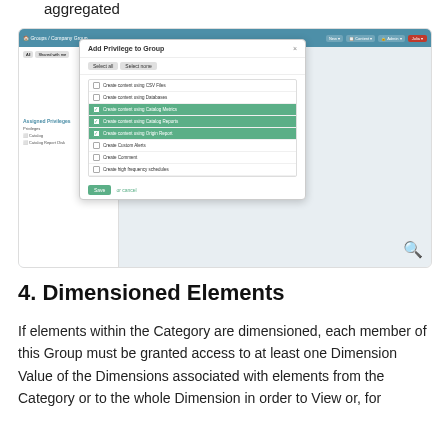aggregated
[Figure (screenshot): Screenshot of a web application showing 'Add Privilege to Group' modal dialog. The modal contains a list of privileges with checkboxes, some highlighted in green (Create content using Catalog Metrics, Create content using Catalog Reports, Create content using Origin Report). At the bottom are Save and cancel buttons. The main page behind shows Groups / Company Group navigation with New, Content, Admin, and Julia menu items.]
4. Dimensioned Elements
If elements within the Category are dimensioned, each member of this Group must be granted access to at least one Dimension Value of the Dimensions associated with elements from the Category or to the whole Dimension in order to View or, for